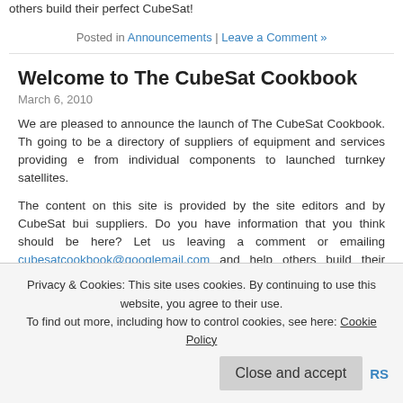leaving a comment or emailing cubesatcookbook@googlemail.com and help others build their perfect CubeSat!
Posted in Announcements | Leave a Comment »
Welcome to The CubeSat Cookbook
March 6, 2010
We are pleased to announce the launch of The CubeSat Cookbook. Th going to be a directory of suppliers of equipment and services providing e from individual components to launched turnkey satellites.
The content on this site is provided by the site editors and by CubeSat bui suppliers. Do you have information that you think should be here? Let us leaving a comment or emailing cubesatcookbook@googlemail.com and help others build their perfect CubeSat!
Posted in Announcements | Leave a Comment »
Privacy & Cookies: This site uses cookies. By continuing to use this website, you agree to their use. To find out more, including how to control cookies, see here: Cookie Policy
Close and accept